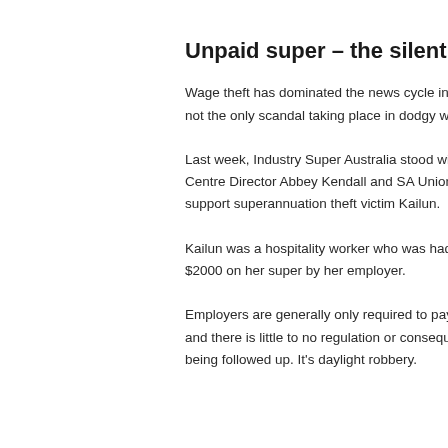Unpaid super – the silent wage
Wage theft has dominated the news cycle in recent years, but it's not the only scandal taking place in dodgy workplaces.
Last week, Industry Super Australia stood with Workers Legal Centre Director Abbey Kendall and SA Unions Secretary to support superannuation theft victim Kailun.
Kailun was a hospitality worker who was had been ripped off $2000 on her super by her employer.
Employers are generally only required to pay super quarterly and there is little to no regulation or consequence on it not being followed up. It's daylight robbery.